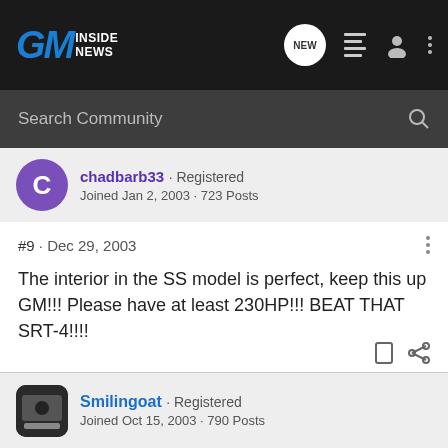[Figure (logo): GM Inside News logo in top navigation bar]
Search Community
chadbarb33 · Registered
Joined Jan 2, 2003 · 723 Posts
#9 · Dec 29, 2003
The interior in the SS model is perfect, keep this up GM!!! Please have at least 230HP!!! BEAT THAT SRT-4!!!!
Smilingoat · Registered
Joined Oct 15, 2003 · 790 Posts